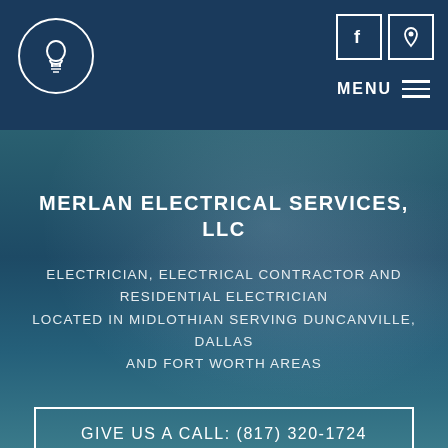Merlan Electrical Services, LLC - Navigation header with logo, Facebook icon, location icon, and MENU button
MERLAN ELECTRICAL SERVICES, LLC
ELECTRICIAN, ELECTRICAL CONTRACTOR AND RESIDENTIAL ELECTRICIAN LOCATED IN MIDLOTHIAN SERVING DUNCANVILLE, DALLAS AND FORT WORTH AREAS
GIVE US A CALL: (817) 320-1724